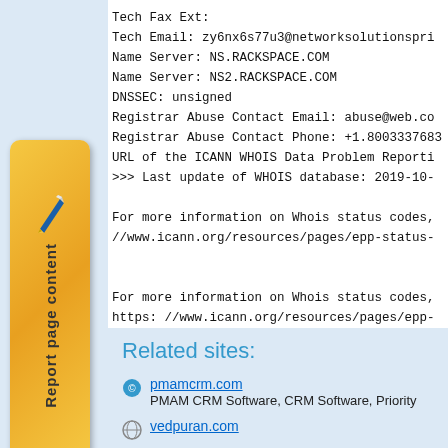[Figure (illustration): Orange gradient tab with pencil icon and vertical text 'Report page content']
Tech Fax Ext:
Tech Email: zy6nx6s77u3@networksolutionspri
Name Server: NS.RACKSPACE.COM
Name Server: NS2.RACKSPACE.COM
DNSSEC: unsigned
Registrar Abuse Contact Email: abuse@web.co
Registrar Abuse Contact Phone: +1.8003337683
URL of the ICANN WHOIS Data Problem Reporti
>>> Last update of WHOIS database: 2019-10-

For more information on Whois status codes,
//www.icann.org/resources/pages/epp-status-


For more information on Whois status codes,
https: //www.icann.org/resources/pages/epp-
Related sites:
pmamcrm.com — PMAM CRM Software, CRM Software, Priority
vedpuran.com